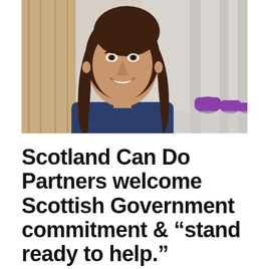[Figure (photo): A smiling young woman with long brown hair wearing a dark navy top, leaning against a wooden wall. In the background is a bright corridor with purple round chairs/stools.]
Scotland Can Do Partners welcome Scottish Government commitment & “stand ready to help.”